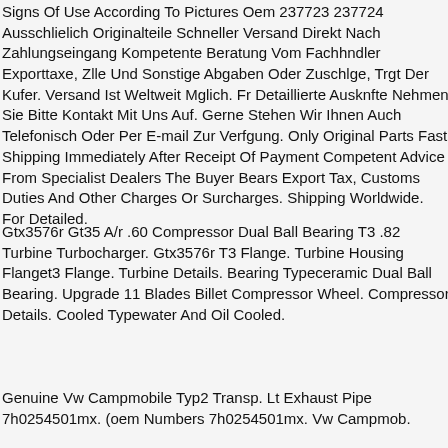Signs Of Use According To Pictures Oem 237723 237724 Ausschlielich Originalteile Schneller Versand Direkt Nach Zahlungseingang Kompetente Beratung Vom Fachhndler Exporttaxe, Zlle Und Sonstige Abgaben Oder Zuschlge, Trgt Der Kufer. Versand Ist Weltweit Mglich. Fr Detaillierte Ausknfte Nehmen Sie Bitte Kontakt Mit Uns Auf. Gerne Stehen Wir Ihnen Auch Telefonisch Oder Per E-mail Zur Verfgung. Only Original Parts Fast Shipping Immediately After Receipt Of Payment Competent Advice From Specialist Dealers The Buyer Bears Export Tax, Customs Duties And Other Charges Or Surcharges. Shipping Worldwide. For Detailed.
Gtx3576r Gt35 A/r .60 Compressor Dual Ball Bearing T3 .82 Turbine Turbocharger. Gtx3576r T3 Flange. Turbine Housing Flanget3 Flange. Turbine Details. Bearing Typeceramic Dual Ball Bearing. Upgrade 11 Blades Billet Compressor Wheel. Compressor Details. Cooled Typewater And Oil Cooled.
Genuine Vw Campmobile Typ2 Transp. Lt Exhaust Pipe 7h0254501mx. (oem Numbers 7h0254501mx. Vw Campmob.